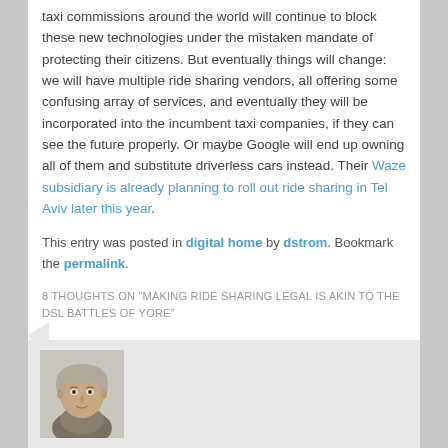taxi commissions around the world will continue to block these new technologies under the mistaken mandate of protecting their citizens. But eventually things will change: we will have multiple ride sharing vendors, all offering some confusing array of services, and eventually they will be incorporated into the incumbent taxi companies, if they can see the future properly. Or maybe Google will end up owning all of them and substitute driverless cars instead. Their Waze subsidiary is already planning to roll out ride sharing in Tel Aviv later this year.
This entry was posted in digital home by dstrom. Bookmark the permalink.
8 THOUGHTS ON "MAKING RIDE SHARING LEGAL IS AKIN TO THE DSL BATTLES OF YORE"
[Figure (photo): Avatar/profile photo of a man, shown from shoulders up, with short gray hair, smiling slightly, wearing a collared shirt. Photo is in a light gray box within a comment section.]